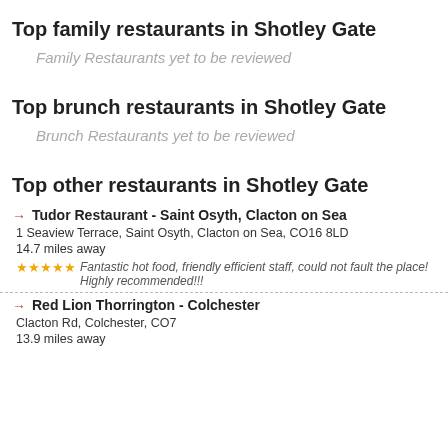Top family restaurants in Shotley Gate
Family Restaurants yet to be reviewed
Top brunch restaurants in Shotley Gate
Brunch Restaurants yet to be reviewed
Top other restaurants in Shotley Gate
Tudor Restaurant - Saint Osyth, Clacton on Sea
1 Seaview Terrace, Saint Osyth, Clacton on Sea, CO16 8LD
14.7 miles away
★★★★★ Fantastic hot food, friendly efficient staff, could not fault the place! Highly recommended!!!
Red Lion Thorrington - Colchester
Clacton Rd, Colchester, CO7
13.9 miles away